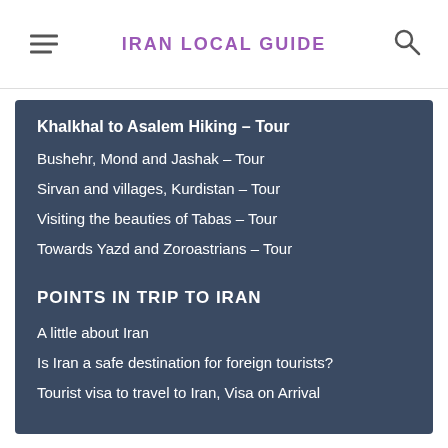IRAN LOCAL GUIDE
Khalkhal to Asalem Hiking – Tour
Bushehr, Mond and Jashak – Tour
Sirvan and villages, Kurdistan – Tour
Visiting the beauties of Tabas – Tour
Towards Yazd and Zoroastrians – Tour
POINTS IN TRIP TO IRAN
A little about Iran
Is Iran a safe destination for foreign tourists?
Tourist visa to travel to Iran, Visa on Arrival